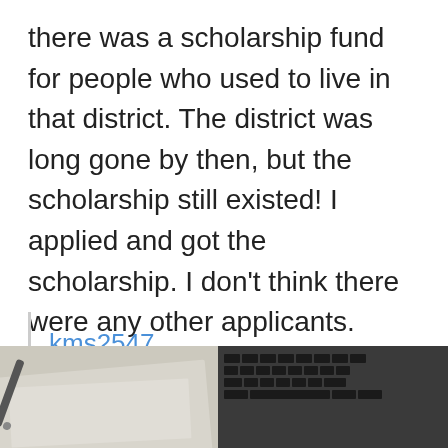there was a scholarship fund for people who used to live in that district. The district was long gone by then, but the scholarship still existed! I applied and got the scholarship. I don't think there were any other applicants.
kms2547
[Figure (photo): Bottom portion of image showing a desk with papers and a pen on the left side, and a laptop keyboard on the right side.]